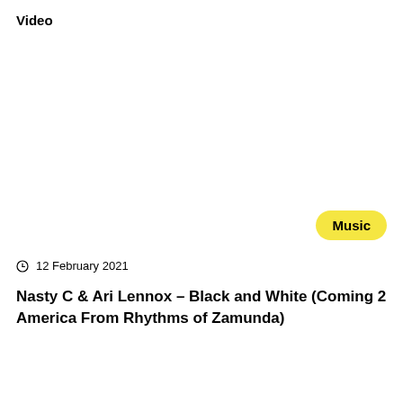Video
Music
12 February 2021
Nasty C & Ari Lennox – Black and White (Coming 2 America From Rhythms of Zamunda)